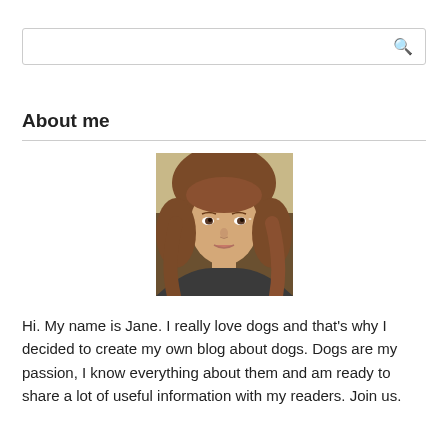[Figure (other): Search box with magnifying glass icon]
About me
[Figure (photo): Portrait photo of a young woman with long brown hair, looking at the camera]
Hi. My name is Jane. I really love dogs and that's why I decided to create my own blog about dogs. Dogs are my passion, I know everything about them and am ready to share a lot of useful information with my readers. Join us.